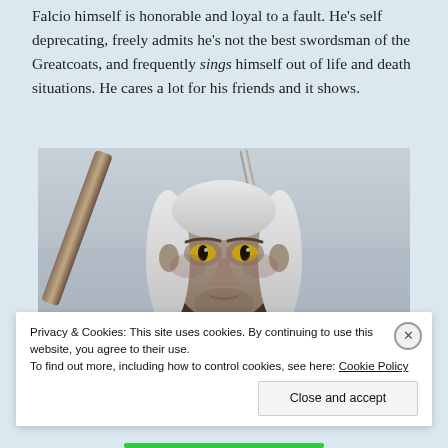Falcio himself is honorable and loyal to a fault. He's self deprecating, freely admits he's not the best swordsman of the Greatcoats, and frequently sings himself out of life and death situations. He cares a lot for his friends and it shows.
[Figure (photo): Close-up portrait of Geralt of Rivia from The Witcher video game — a white-haired warrior in chainmail armor with swords on his back, intense yellow eyes, facial scar, looking directly at the camera against a pale grey sky background.]
Privacy & Cookies: This site uses cookies. By continuing to use this website, you agree to their use.
To find out more, including how to control cookies, see here: Cookie Policy

Close and accept